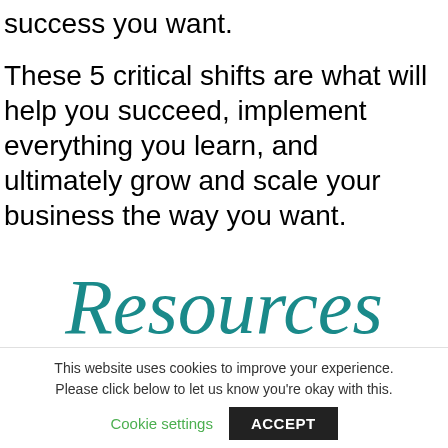success you want.
These 5 critical shifts are what will help you succeed, implement everything you learn, and ultimately grow and scale your business the way you want.
[Figure (illustration): Hand-lettered script word 'Resources' in teal/dark cyan color]
This website uses cookies to improve your experience. Please click below to let us know you're okay with this.
Cookie settings    ACCEPT